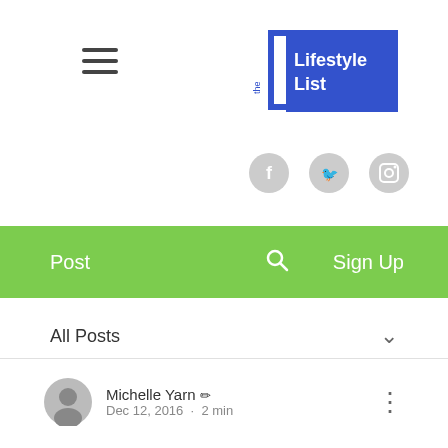[Figure (logo): The Lifestyle List logo — blue square with white text 'Lifestyle List' and decorative bracket elements]
[Figure (illustration): Social media icons: Facebook, Twitter, Instagram in gray circles]
Post   🔍   Sign Up
All Posts
Michelle Yarn ✏  Dec 12, 2016 · 2 min
Gift Card Ideas for Everyone on Your List